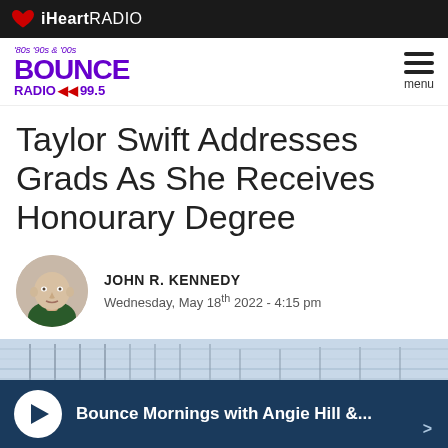[Figure (logo): iHeartRADIO logo in white text on dark background bar]
[Figure (logo): Bounce Radio 99.5 logo with '80s '90s & '00s tagline in purple]
Taylor Swift Addresses Grads As She Receives Honourary Degree
[Figure (photo): Headshot of John R. Kennedy, bald male author in circular avatar]
JOHN R. KENNEDY
Wednesday, May 18th 2022 - 4:15 pm
[Figure (photo): Partial article photo showing building/stadium structure]
Bounce Mornings with Angie Hill &...